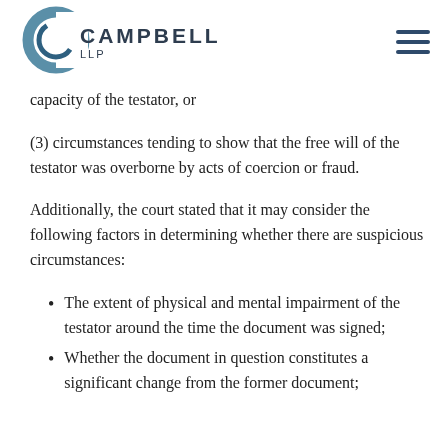CAMPBELLS LLP
capacity of the testator, or
(3) circumstances tending to show that the free will of the testator was overborne by acts of coercion or fraud.
Additionally, the court stated that it may consider the following factors in determining whether there are suspicious circumstances:
The extent of physical and mental impairment of the testator around the time the document was signed;
Whether the document in question constitutes a significant change from the former document;